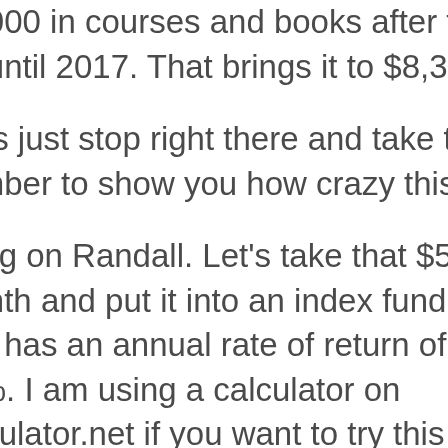$5,000 in courses and books after that up until 2017. That brings it to $8,300.
Let's just stop right there and take that number to show you how crazy this is.
Bring on Randall. Let's take that $50 a month and put it into an index fund that has an annual rate of return of 10%. I am using a calculator on calculator.net if you want to try this out for yourself.  From 2014 to now is about 4 years so that's 48 months making for the